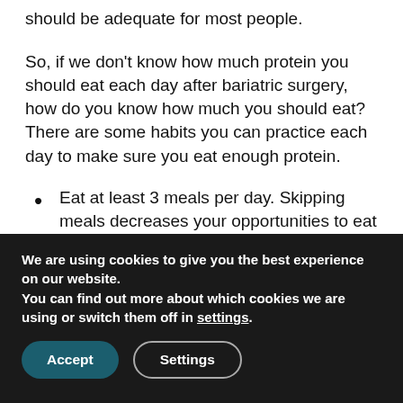should be adequate for most people.
So, if we don’t know how much protein you should eat each day after bariatric surgery, how do you know how much you should eat? There are some habits you can practice each day to make sure you eat enough protein.
Eat at least 3 meals per day. Skipping meals decreases your opportunities to eat protein foods. You’re not going to get enough protein eating only one time per day.
We are using cookies to give you the best experience on our website.
You can find out more about which cookies we are using or switch them off in settings.